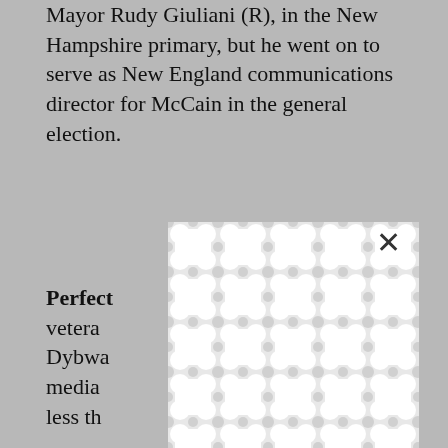Mayor Rudy Giuliani (R), in the New Hampshire primary, but he went on to serve as New England communications director for McCain in the general election.
[Figure (screenshot): A modal/popup dialog box with a decorative repeating organic blob/pebble pattern in light gray and white, with an X close button in the upper right corner. The modal overlays the main text content.]
Perfec[t …] veteran[…] Matthew Dybwa[…] o media[…] hed less th[…]
The fir[m …] nahue and Jus[…] nts Republican Reps. Joe Wilson (S.C.), Kevin McCarthy (Calif.) and Thaddeus McCotter (Mich.). The firm also reports that it consults for the U.S. Chamber of Commerce, the Republi[can…]